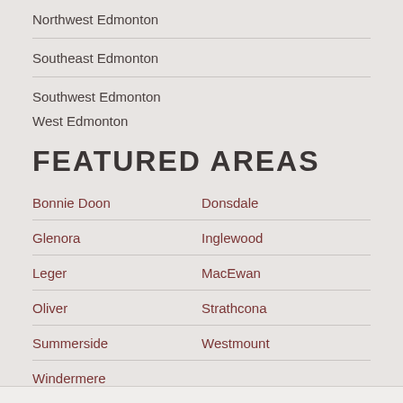Northwest Edmonton
Southeast Edmonton
Southwest Edmonton
West Edmonton
FEATURED AREAS
Bonnie Doon  Donsdale
Glenora  Inglewood
Leger  MacEwan
Oliver  Strathcona
Summerside  Westmount
Windermere